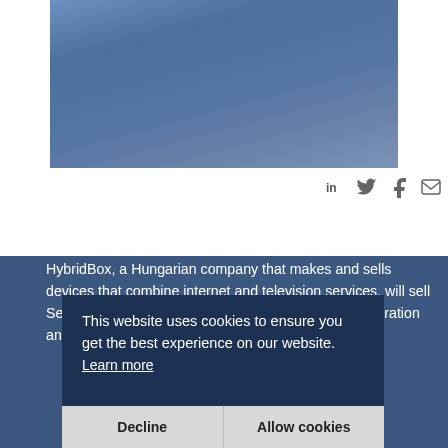[Figure (photo): A blue-toned hero image, rectangular, with a gradient blue-grey background — possibly a sky or background photo]
[Figure (infographic): Social sharing icons: LinkedIn (in), Twitter bird, Facebook f, and envelope/email icon in grey]
HybridBox, a Hungarian company that makes and sells devices that combine internet and television services, will sell Seychelles-registered unit PHERIX Enterprises Corporation and Slovak unit HybridBox Sk Sro.
This website uses cookies to ensure you get the best experience on our website. Learn more
The transaction is designed to rationalize the company's operations, HybridBox announced on Monday evening.
Decline
Allow cookies